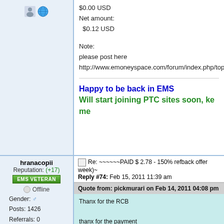$0.00 USD
Net amount:
  $0.12 USD

Note:
please post here
http://www.emoneyspace.com/forum/index.php/top
Happy to be back in EMS
Will start joining PTC sites soon, ke me
hranacopii
Reputation: (+17)
EMS VETERAN
Offline
Gender: Male
Posts: 1426
Referrals: 0
Re: ~~~~~~PAID $ 2.78 - 150% refback offer week)~
Reply #74: Feb 15, 2011 11:39 am
Quote from: pickmurari on Feb 14, 2011 04:08 pm
Thanx for the RCB

thanx for the payment

Amount received:
  $0.12 USD
Fee amount:
  $0.00 USD
Net amount:
  $0.12 USD

Note: